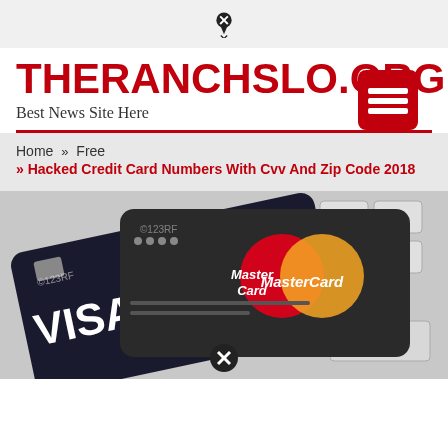THERANCHSLO.ORG
Best News Site Here
Home » Free » Hacked Credit Card Numbers With Cvv And Zip Code 2018
[Figure (photo): Photo of Visa and MasterCard credit cards fanned out on a keyboard, with 123RF watermark. A MasterCard is prominently displayed with its red and orange overlapping circles logo.]